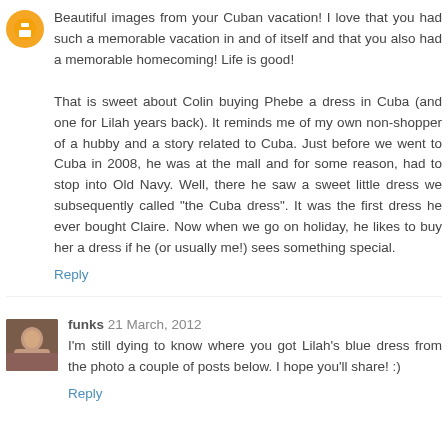Beautiful images from your Cuban vacation! I love that you had such a memorable vacation in and of itself and that you also had a memorable homecoming! Life is good!

That is sweet about Colin buying Phebe a dress in Cuba (and one for Lilah years back). It reminds me of my own non-shopper of a hubby and a story related to Cuba. Just before we went to Cuba in 2008, he was at the mall and for some reason, had to stop into Old Navy. Well, there he saw a sweet little dress we subsequently called "the Cuba dress". It was the first dress he ever bought Claire. Now when we go on holiday, he likes to buy her a dress if he (or usually me!) sees something special.
Reply
funks 21 March, 2012
I'm still dying to know where you got Lilah's blue dress from the photo a couple of posts below. I hope you'll share! :)
Reply